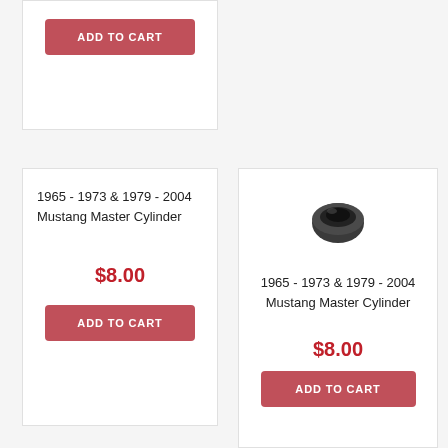[Figure (other): Add to Cart button (partial card top)]
1965 - 1973 & 1979 - 2004 Mustang Master Cylinder
$8.00
[Figure (photo): Small black rubber bushing/grommet part photo]
1965 - 1973 & 1979 - 2004 Mustang Master Cylinder
$8.00